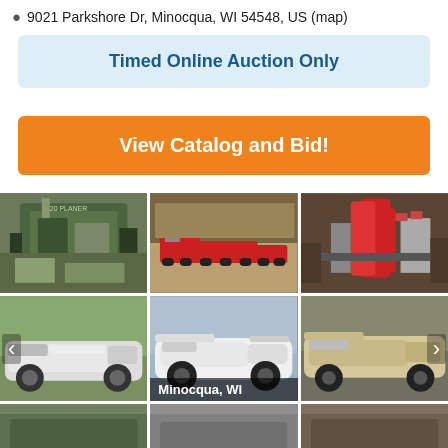9021 Parkshore Dr, Minocqua, WI 54548, US (map)
Timed Online Auction Only
View Catalog and Bid!
[Figure (photo): Grid of auction item photos: woodworking planer machine, large toy model semi truck, red air compressor tanks with hoses, white classic car (side view), white Corvette sports car, beige/tan Lincoln Continental, bottom row partially visible]
Minocqua, WI